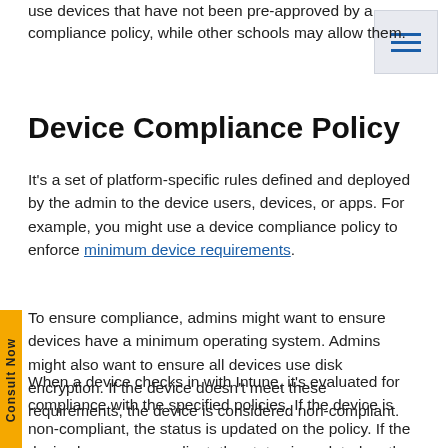use devices that have not been pre-approved by a compliance policy, while other schools may allow them.
Device Compliance Policy
It’s a set of platform-specific rules defined and deployed by the admin to the device users, devices, or apps. For example, you might use a device compliance policy to enforce minimum device requirements.
To ensure compliance, admins might want to ensure devices have a minimum operating system. Admins might also want to ensure all devices use disk encryption. If the device doesn’t meet these requirements, the device is considered non-compliant.
When a device checks in with Intune, it’s evaluated for compliance with the specified policies. If the device is non-compliant, the status is updated on the policy. If the device becomes compliant, the status is updated on the policy. A previously compliant device can also be deemed non-compliant if something changes since the last check-in.